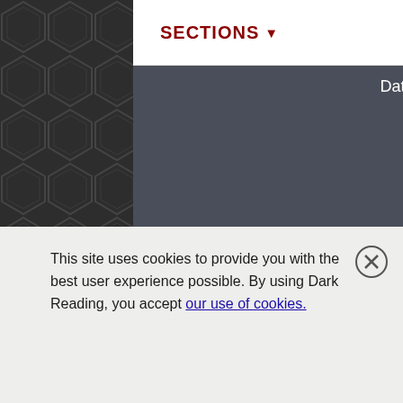SECTIONS ▼
Data Center Knowledge
Black Hat
Working With Us
Contact us
About Us
Advertise
Follow DarkReading On Social
This site uses cookies to provide you with the best user experience possible. By using Dark Reading, you accept our use of cookies.